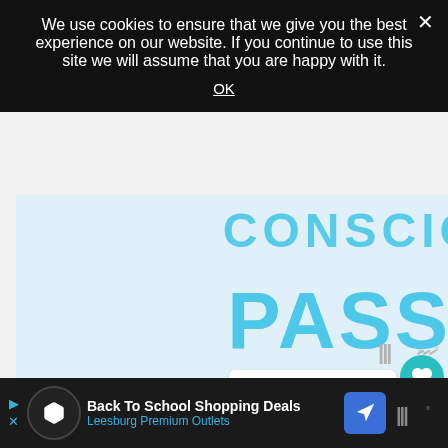We use cookies to ensure that we give you the best experience on our website. If you continue to use this site we will assume that you are happy with it.
OK
[Figure (screenshot): Blue banner with text 'CONSCIOUSNESS PASS IT ON' in large teal/cyan bold uppercase letters on a light blue background]
[Figure (infographic): Heart (like) button in teal circle, count '1', and share button]
1
WHAT'S NEXT → 5 Ways to Make Money...
[Figure (infographic): ww° logo in gray]
Back To School Shopping Deals Leesburg Premium Outlets
[Figure (logo): ww° logo in gray on dark background]